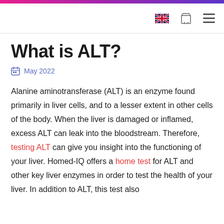Navigation bar with UK flag, cart icon, and hamburger menu
What is ALT?
May 2022
Alanine aminotransferase (ALT) is an enzyme found primarily in liver cells, and to a lesser extent in other cells of the body. When the liver is damaged or inflamed, excess ALT can leak into the bloodstream. Therefore, testing ALT can give you insight into the functioning of your liver. Homed-IQ offers a home test for ALT and other key liver enzymes in order to test the health of your liver. In addition to ALT, this test also